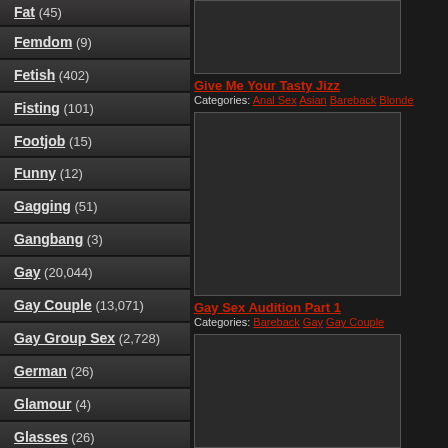Fat (45)
Femdom (9)
Fetish (402)
Fisting (101)
Footjob (15)
Funny (12)
Gagging (51)
Gangbang (3)
Gay (20,044)
Gay Couple (13,071)
Gay Group Sex (2,728)
German (26)
Glamour (4)
Glasses (26)
Glory Hole (38)
Granny (3)
Group Sex (11)
[Figure (screenshot): Video thumbnail placeholder dark gray box at top]
Give Me Your Tasty Jizz
Categories: Anal Sex Asian Bareback Blonde
[Figure (screenshot): Video thumbnail large dark gray box middle]
Gay Sex Audition Part 1
Categories: Bareback Gay Gay Couple
[Figure (screenshot): Video thumbnail dark gray box at bottom]